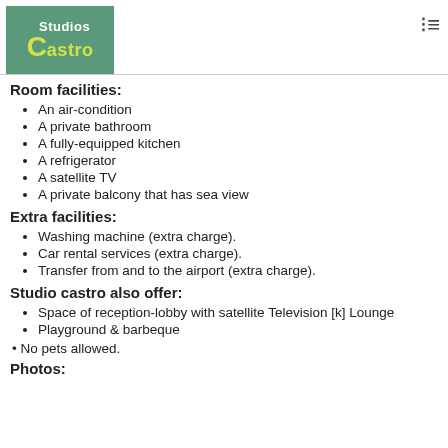Studios Castro
Room facilities:
An air-condition
A private bathroom
A fully-equipped kitchen
A refrigerator
A satellite TV
A private balcony that has sea view
Extra facilities:
Washing machine (extra charge).
Car rental services (extra charge).
Transfer from and to the airport (extra charge).
Studio castro also offer:
Space of reception-lobby with satellite Television [k] Lounge
Playground & barbeque
• No pets allowed.
Photos: